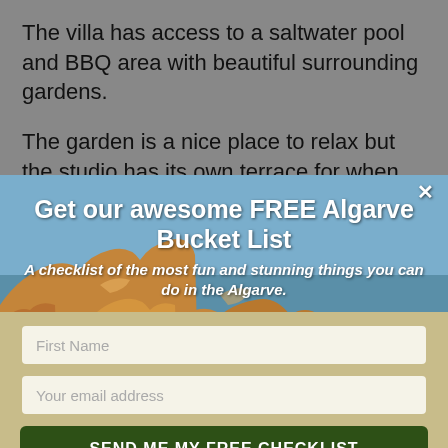The villa has access to a saltwater pool and BBQ area with beautiful surrounding gardens.
The garden is a nice place to relax but the studio has its own terrace for when you want to be more
[Figure (photo): Coastal rocky cliff landscape in the Algarve, Portugal, with orange/brown rock formations, sea, and greenery]
Get our awesome FREE Algarve Bucket List
A checklist of the most fun and stunning things you can do in the Algarve.
First Name (input field)
Your email address (input field)
SEND ME MY FREE CHECKLIST